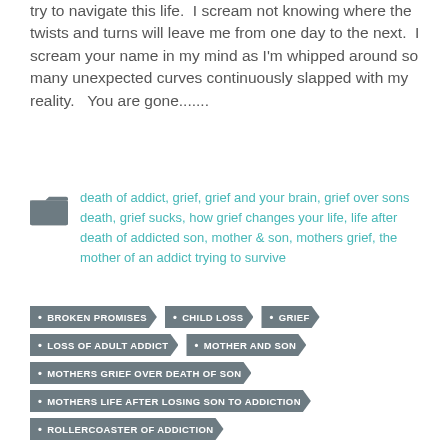try to navigate this life.  I scream not knowing where the twists and turns will leave me from one day to the next.  I scream your name in my mind as I'm whipped around so many unexpected curves continuously slapped with my reality.   You are gone.......
death of addict, grief, grief and your brain, grief over sons death, grief sucks, how grief changes your life, life after death of addicted son, mother & son, mothers grief, the mother of an addict trying to survive
BROKEN PROMISES
CHILD LOSS
GRIEF
LOSS OF ADULT ADDICT
MOTHER AND SON
MOTHERS GRIEF OVER DEATH OF SON
MOTHERS LIFE AFTER LOSING SON TO ADDICTION
ROLLERCOASTER OF ADDICTION